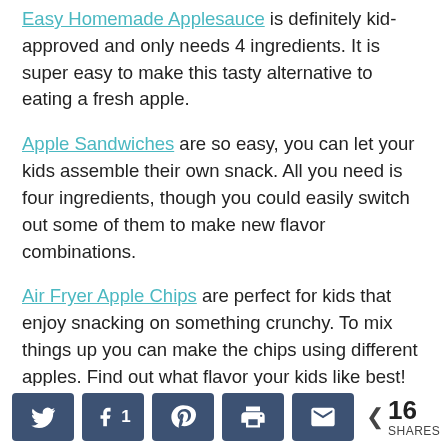Easy Homemade Applesauce is definitely kid-approved and only needs 4 ingredients. It is super easy to make this tasty alternative to eating a fresh apple.
Apple Sandwiches are so easy, you can let your kids assemble their own snack. All you need is four ingredients, though you could easily switch out some of them to make new flavor combinations.
Air Fryer Apple Chips are perfect for kids that enjoy snacking on something crunchy. To mix things up you can make the chips using different apples. Find out what flavor your kids like best!